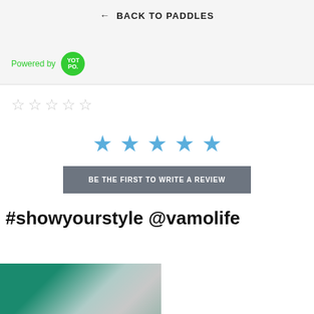← BACK TO PADDLES
Powered by YOTPO.
[Figure (other): Five empty star outlines for rating]
[Figure (other): Five blue filled stars for rating display]
BE THE FIRST TO WRITE A REVIEW
#showyourstyle @vamolife
[Figure (photo): Partial image of paddle/water scene at bottom left]